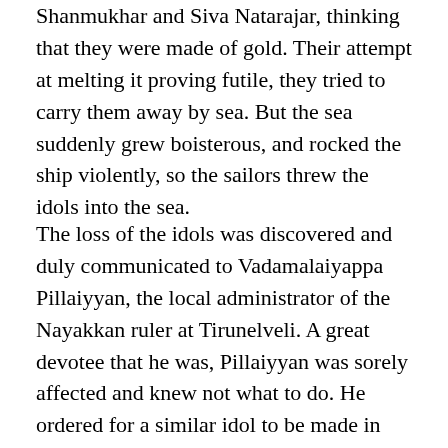Shanmukhar and Siva Natarajar, thinking that they were made of gold. Their attempt at melting it proving futile, they tried to carry them away by sea. But the sea suddenly grew boisterous, and rocked the ship violently, so the sailors threw the idols into the sea.
The loss of the idols was discovered and duly communicated to Vadamalaiyappa Pillaiyyan, the local administrator of the Nayakkan ruler at Tirunelveli. A great devotee that he was, Pillaiyyan was sorely affected and knew not what to do. He ordered for a similar idol to be made in panchaloka. As the duplicate one was ready, and was on its way to Tiruchendur to be installed, in 1653 Vadamalaiappa Pillaiyyan had a